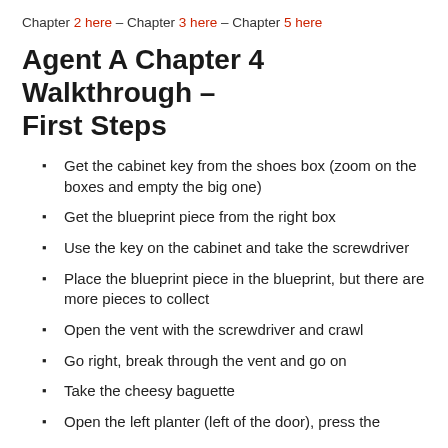Chapter 2 here – Chapter 3 here – Chapter 5 here
Agent A Chapter 4 Walkthrough – First Steps
Get the cabinet key from the shoes box (zoom on the boxes and empty the big one)
Get the blueprint piece from the right box
Use the key on the cabinet and take the screwdriver
Place the blueprint piece in the blueprint, but there are more pieces to collect
Open the vent with the screwdriver and crawl
Go right, break through the vent and go on
Take the cheesy baguette
Open the left planter (left of the door), press the